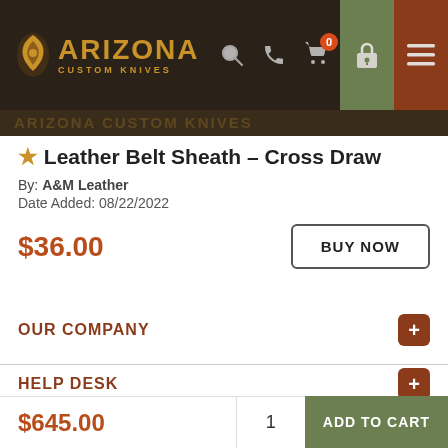Arizona Custom Knives — header navigation
★ Leather Belt Sheath – Cross Draw
By: A&M Leather
Date Added: 08/22/2022
$36.00
OUR COMPANY
HELP DESK
SHOP BY CATEGORY
$645.00  1  ADD TO CART